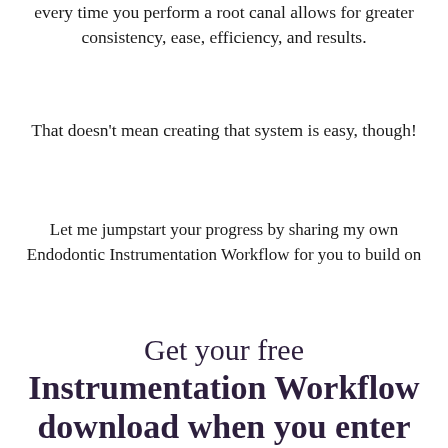every time you perform a root canal allows for greater consistency, ease, efficiency, and results.
That doesn't mean creating that system is easy, though!
Let me jumpstart your progress by sharing my own Endodontic Instrumentation Workflow for you to build on
Get your free Instrumentation Workflow download when you enter your name & email below